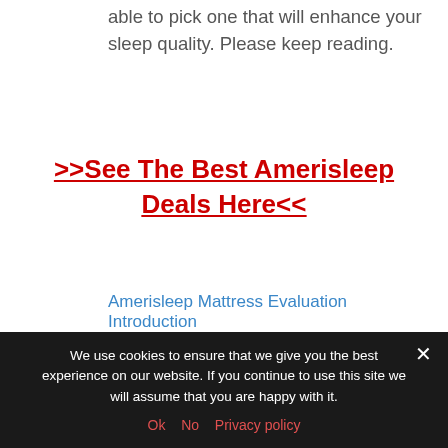able to pick one that will enhance your sleep quality. Please keep reading.
>>See The Best Amerisleep Deals Here<<
Amerisleep Mattress Evaluation Introduction
In this article [show]
Amerisleep mattresses have actually been made using cutting-edge technology to
We use cookies to ensure that we give you the best experience on our website. If you continue to use this site we will assume that you are happy with it.
Ok  No  Privacy policy